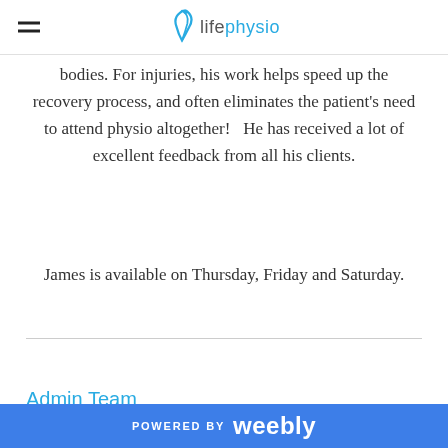lifephysio
bodies. For injuries, his work helps speed up the recovery process, and often eliminates the patient's need to attend physio altogether!   He has received a lot of excellent feedback from all his clients.
James is available on Thursday, Friday and Saturday.
Admin Team
POWERED BY weebly